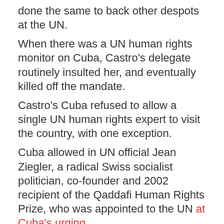done the same to back other despots at the UN. When there was a UN human rights monitor on Cuba, Castro's delegate routinely insulted her, and eventually killed off the mandate. Castro's Cuba refused to allow a single UN human rights expert to visit the country, with one exception. Cuba allowed in UN official Jean Ziegler, a radical Swiss socialist politician, co-founder and 2002 recipient of the Qaddafi Human Rights Prize, who was appointed to the UN at Cuba's urging. Ziegler turned his visit into a propaganda exercise for the Castro regime, both during his visit, and in his later UN report and